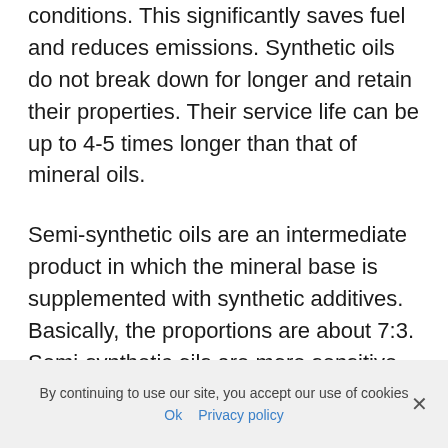conditions. This significantly saves fuel and reduces emissions. Synthetic oils do not break down for longer and retain their properties. Their service life can be up to 4-5 times longer than that of mineral oils.
Semi-synthetic oils are an intermediate product in which the mineral base is supplemented with synthetic additives. Basically, the proportions are about 7:3. Semi-synthetic oils are more sensitive to temperature changes than pure synthetics.
By continuing to use our site, you accept our use of cookies  Ok  Privacy policy